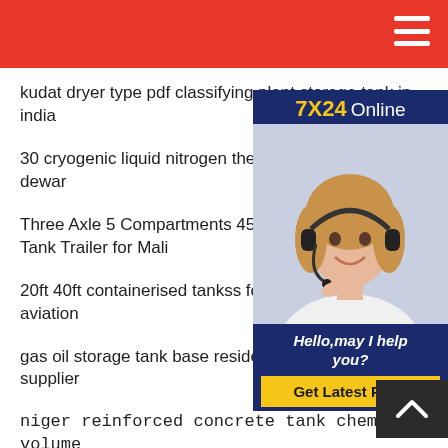kudat dryer type pdf classifying plant storage tank in india
30 cryogenic liquid nitrogen therm dewar
Three Axle 5 Compartments 450 Tank Trailer for Mali
20ft 40ft containerised tankss fo aviation
gas oil storage tank base residen supplier
niger reinforced concrete tank chemical volume
304 316heating reaction pressure mixing tank
super quality 5 m3 steel grp tank for the philippines
[Figure (photo): Customer service representative with headset, smiling, with 7X24 Online label and Get Latest Price button on a dark blue background]